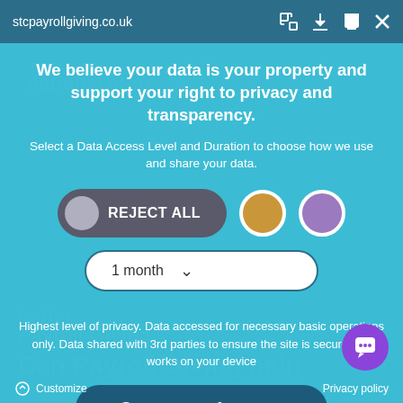stcpayrollgiving.co.uk
We believe your data is your property and support your right to privacy and transparency.
Select a Data Access Level and Duration to choose how we use and share your data.
[Figure (screenshot): Interactive privacy consent widget showing a 'REJECT ALL' toggle button in dark grey with a grey circle, two option circles (gold and purple with white borders), a '1 month' dropdown selector, and a 'Save my preferences' button in dark blue. There is also a purple chat bubble icon in bottom right.]
Highest level of privacy. Data accessed for necessary basic operations only. Data shared with 3rd parties to ensure the site is secure and works on your device
Customize
Privacy policy